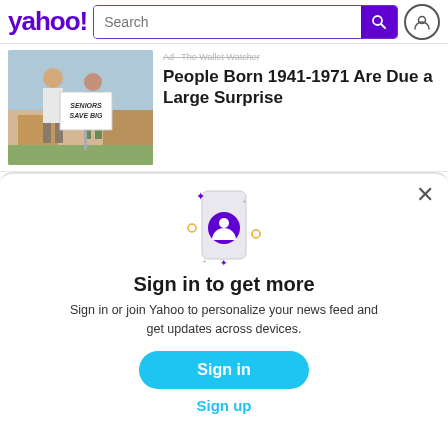yahoo! Search
[Figure (screenshot): Ad thumbnail showing two seniors holding a sign that reads 'Seniors Save Big' in front of a house]
Ad · The Wallet Watcher
People Born 1941-1971 Are Due a Large Surprise
[Figure (illustration): Phone illustration with purple user profile icon and sparkle/star decorations]
Sign in to get more
Sign in or join Yahoo to personalize your news feed and get updates across devices.
Sign in
Sign up